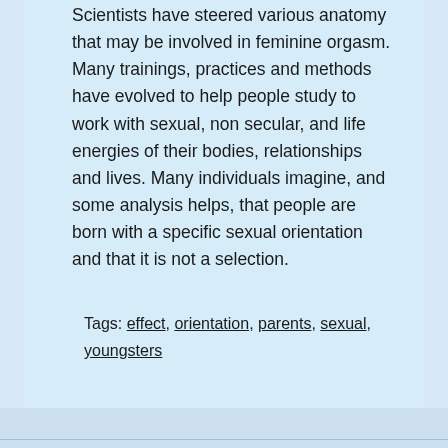Scientists have steered various anatomy that may be involved in feminine orgasm. Many trainings, practices and methods have evolved to help people study to work with sexual, non secular, and life energies of their bodies, relationships and lives. Many individuals imagine, and some analysis helps, that people are born with a specific sexual orientation and that it is not a selection.
Tags: effect, orientation, parents, sexual, youngsters